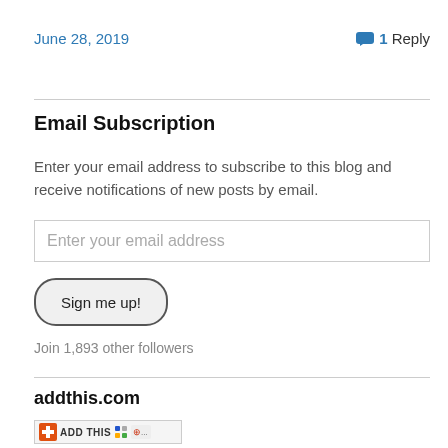June 28, 2019
💬 1 Reply
Email Subscription
Enter your email address to subscribe to this blog and receive notifications of new posts by email.
Enter your email address
Sign me up!
Join 1,893 other followers
addthis.com
[Figure (other): AddThis social sharing toolbar button with red plus icon and sharing icons]